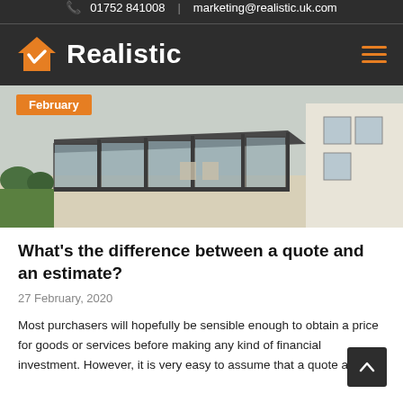01752 841008 | marketing@realistic.uk.com
[Figure (logo): Realistic logo with orange house checkmark icon and white bold text 'Realistic' on dark background]
[Figure (photo): Photo of a modern glass conservatory extension attached to a white house, with grey aluminium frames, patio area and garden]
February
What's the difference between a quote and an estimate?
27 February, 2020
Most purchasers will hopefully be sensible enough to obtain a price for goods or services before making any kind of financial investment. However, it is very easy to assume that a quote and an